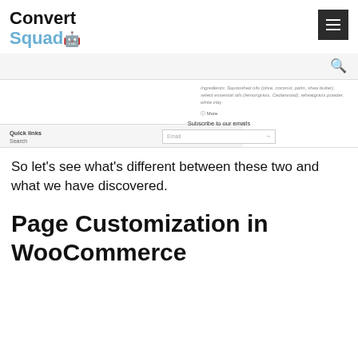Convert Squad [logo] [hamburger menu]
[Figure (screenshot): Website screenshot showing a product page with ingredients text and a 'More' link on the right side, and a footer section with Quick links, Search, Subscribe to our emails input with email field]
So let’s see what’s different between these two and what we have discovered.
Page Customization in WooCommerce